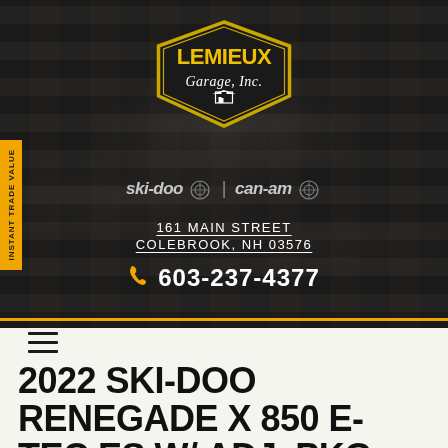[Figure (logo): Lemieux Garage, Inc. logo — black pentagon/shield shape with gold border, yellow text 'LEMIEUX' on top, italic script 'Garage, Inc.' below, small garage door icon at bottom]
ski-doo | can-am
161 MAIN STREET
COLEBROOK, NH 03576
603-237-4377
INSTANT TRADE VALUE
2022 SKI-DOO RENEGADE X 850 E-TEC ES W/ ADJ. PKG, ICE RIPPER XT 1.5 W/...